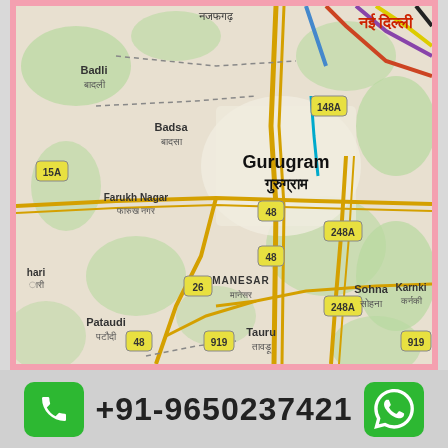[Figure (map): Google Maps screenshot showing Gurugram (गुरुग्राम) and surrounding areas including Badli, Badsa, Farukh Nagar, Pataudi, Manesar, Sohna, Tauru, Bhiwadi, Karnki with road network markers 15A, 26, 48, 148A, 248A, 919 and pink border frame. नई दिल्ली visible in top right.]
+91-9650237421